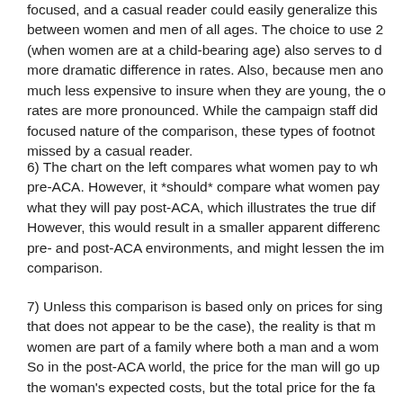focused, and a casual reader could easily generalize this between women and men of all ages. The choice to use 2 (when women are at a child-bearing age) also serves to d more dramatic difference in rates. Also, because men ano much less expensive to insure when they are young, the c rates are more pronounced. While the campaign staff did focused nature of the comparison, these types of footnot missed by a casual reader.
6) The chart on the left compares what women pay to wh pre-ACA. However, it *should* compare what women pay what they will pay post-ACA, which illustrates the true dif However, this would result in a smaller apparent differenc pre- and post-ACA environments, and might lessen the im comparison.
7) Unless this comparison is based only on prices for sing that does not appear to be the case), the reality is that m women are part of a family where both a man and a wom So in the post-ACA world, the price for the man will go up the woman's expected costs, but the total price for the fa